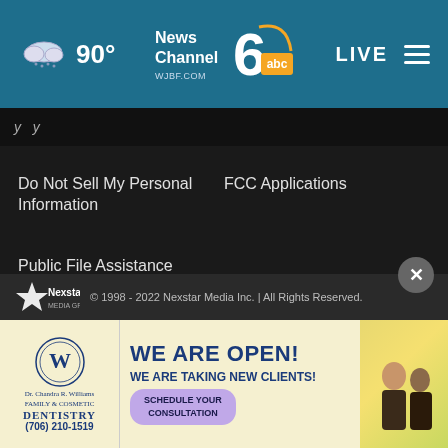News Channel 6 WJBF.COM abc — 90° — LIVE
y y
Do Not Sell My Personal Information
FCC Applications
Public File Assistance Contact
The Hill
NewsNation
BestReviews
Content Licensing
Nexstar Digital
© 1998 - 2022 Nexstar Media Inc. | All Rights Reserved.
[Figure (screenshot): Advertisement for Dr. Chandra R. Williams Family & Cosmetic Dentistry — WE ARE OPEN! WE ARE TAKING NEW CLIENTS! SCHEDULE YOUR CONSULTATION (706) 210-1519]